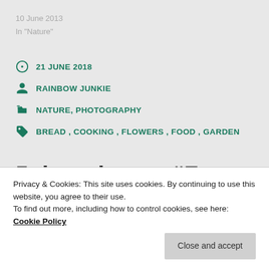10 June 2013
In "Nature"
21 JUNE 2018
RAINBOW JUNKIE
NATURE, PHOTOGRAPHY
BREAD , COOKING , FLOWERS , FOOD , GARDEN
5 thoughts on “For
Privacy & Cookies: This site uses cookies. By continuing to use this website, you agree to their use.
To find out more, including how to control cookies, see here: Cookie Policy